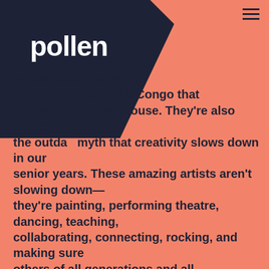pollen
as Australia, Thailand, and the Republic of the Congo that Minnesota powerhouse. They're also shattering the outdated myth that creativity slows down in our senior years. These amazing artists aren't slowing down—they're painting, performing theatre, dancing, teaching, collaborating, connecting, rocking, and making sure others of all generations and all backgrounds have the chance to create art of their own. Art is our way of sharing the way we experience the world so we can better understand each other. These 10 artists are still going strong—sharing so much of themselves and helping to create more understanding in the world.